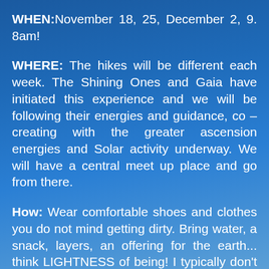WHEN: November 18, 25, December 2, 9. 8am!
WHERE: The hikes will be different each week. The Shining Ones and Gaia have initiated this experience and we will be following their energies and guidance, co – creating with the greater ascension energies and Solar activity underway. We will have a central meet up place and go from there.
How: Wear comfortable shoes and clothes you do not mind getting dirty. Bring water, a snack, layers, an offering for the earth... think LIGHTNESS of being! I typically don't even take water on a 3 hour hike – I just want to be as free as possible to explore, climb, crawl into, jump, leap and fly!